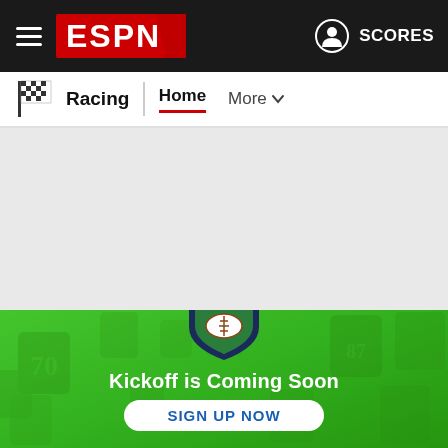[Figure (screenshot): ESPN navigation bar with hamburger menu, ESPN logo, and SCORES link]
[Figure (screenshot): ESPN Racing sub-navigation with checkered flag icon, Racing label, Home tab and More dropdown]
[Figure (screenshot): Grey empty content area (advertisement/content placeholder)]
[Figure (screenshot): ESPN Fantasy Football promotional banner on green background with fantasy shield logo]
Kickoff is Coming Soon
SIGN UP NOW